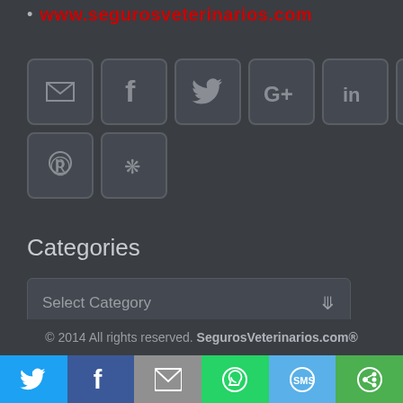www.segurosveterinarios.com
[Figure (screenshot): Social media icon buttons in a grid: email, Facebook, Twitter, Google+, LinkedIn, YouTube, Vimeo, Pinterest, Yelp]
Categories
[Figure (screenshot): Select Category dropdown widget]
© 2014 All rights reserved. SegurosVeterinarios.com®
[Figure (infographic): Social share bar at bottom: Twitter (blue), Facebook (dark blue), Email (gray), WhatsApp (green), SMS (light blue), Other (green)]